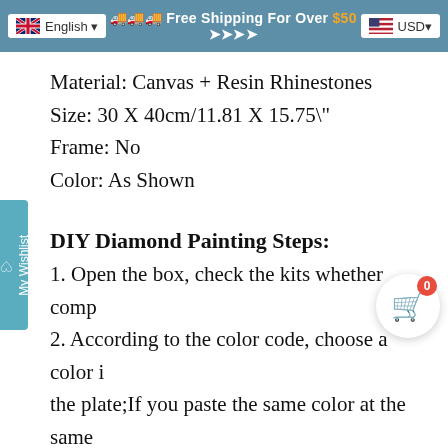English  🚚🚚🚚 Free Shipping For Over $50 ➤➤➤➤  USD
Material: Canvas + Resin Rhinestones
Size: 30 X 40cm/11.81 X 15.75"
Frame: No
Color: As Shown
DIY Diamond Painting Steps:
1. Open the box, check the kits whether complete.
2. According to the color code, choose a color into the plate;If you paste the same color at the same time, you can increase the speed.
3. Find the symbols in picture, beginning paste until finish it.
4. When you finish it,put some books on top, let it more firmly.
5. Congratulations, you can go to frame up and hang to make home more beautiful.